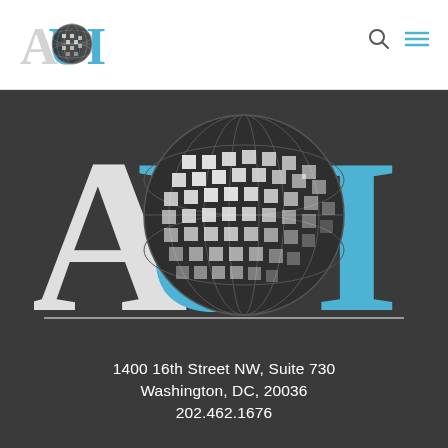[Figure (logo): AUI logo small version in nav bar - letters A U I with globe graphic, blue and dark colors]
[Figure (logo): Large AUI logo centered on dark background - large white and blue letters A, U, I with checkered globe overlapping, separated by horizontal line]
1400 16th Street NW, Suite 730
Washington, DC, 20036
202.462.1676